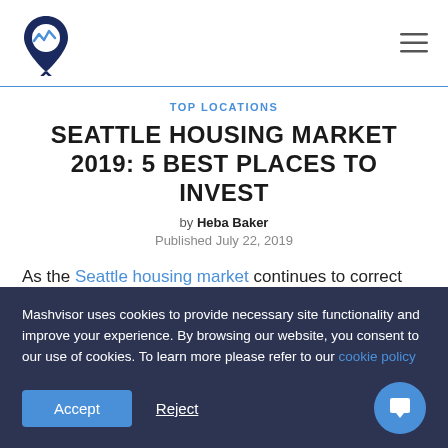Mashvisor logo and navigation
TOP LOCATIONS
SEATTLE HOUSING MARKET 2019: 5 BEST PLACES TO INVEST
by Heba Baker
Published July 22, 2019
As the Seattle housing market continues to correct itself in 2019, buyers now have a better chance of buying a house in Seattle for investment. With prices coming down from the
Mashvisor uses cookies to provide necessary site functionality and improve your experience. By browsing our website, you consent to our use of cookies. To learn more please refer to our cookie policy